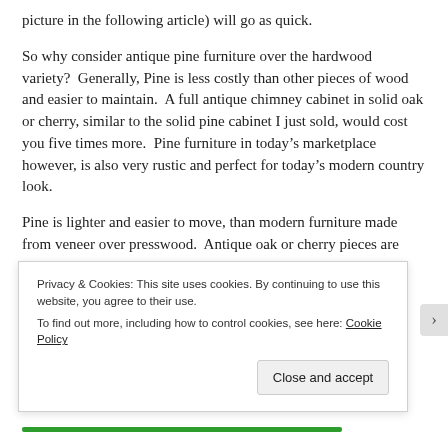picture in the following article) will go as quick.
So why consider antique pine furniture over the hardwood variety?  Generally, Pine is less costly than other pieces of wood and easier to maintain.  A full antique chimney cabinet in solid oak or cherry, similar to the solid pine cabinet I just sold, would cost you five times more.  Pine furniture in today’s marketplace however, is also very rustic and perfect for today’s modern country look.
Pine is lighter and easier to move, than modern furniture made from veneer over presswood.  Antique oak or cherry pieces are heavy in comparison to the same piece in pine.  Why is that i... t...
Privacy & Cookies: This site uses cookies. By continuing to use this website, you agree to their use.
To find out more, including how to control cookies, see here: Cookie Policy
Close and accept